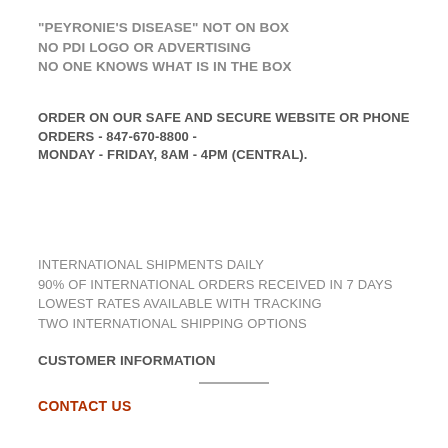"PEYRONIE'S DISEASE" NOT ON BOX
NO PDI LOGO OR ADVERTISING
NO ONE KNOWS WHAT IS IN THE BOX
ORDER ON OUR SAFE AND SECURE WEBSITE OR PHONE ORDERS - 847-670-8800 - MONDAY - FRIDAY, 8AM - 4PM (CENTRAL).
INTERNATIONAL SHIPMENTS DAILY
90% OF INTERNATIONAL ORDERS RECEIVED IN 7 DAYS
LOWEST RATES AVAILABLE WITH TRACKING
TWO INTERNATIONAL SHIPPING OPTIONS
CUSTOMER INFORMATION
CONTACT US